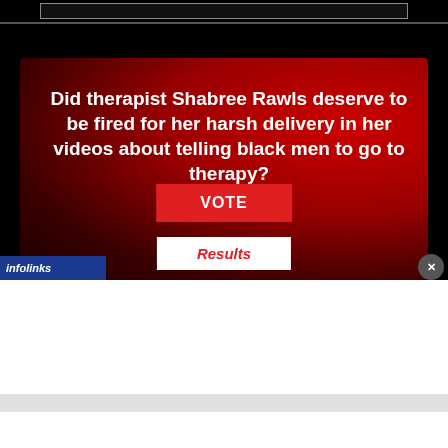[Figure (screenshot): Online poll widget with dark/red gradient background asking about therapist Shabree Rawls, with No/Yes radio buttons, a VOTE button, and a Results button. An infolinks ad bar is visible at the bottom left.]
Did therapist Shabree Rawls deserve to be fired for her harsh delivery in her videos about telling black men to go to therapy?
No
Yes
VOTE
Results
infolinks